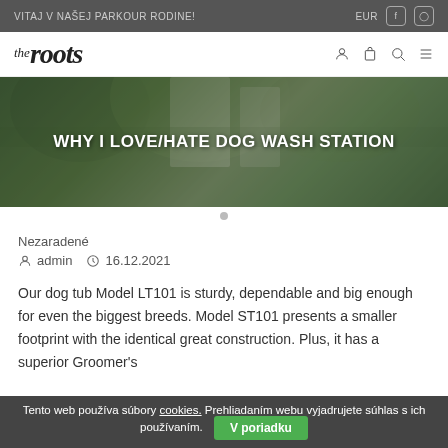VITAJ V NAŠEJ PARKOUR RODINE!  EUR
[Figure (logo): The Roots logo in italic script]
[Figure (photo): Hero image of building through green trees with overlay text: WHY I LOVE/HATE DOG WASH STATION]
WHY I LOVE/HATE DOG WASH STATION
Nezaradené
admin  16.12.2021
Our dog tub Model LT101 is sturdy, dependable and big enough for even the biggest breeds. Model ST101 presents a smaller footprint with the identical great construction. Plus, it has a superior Groomer's
Tento web používa súbory cookies. Prehliadaním webu vyjadrujete súhlas s ich používaním.  V poriadku